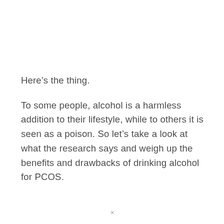Here’s the thing.
To some people, alcohol is a harmless addition to their lifestyle, while to others it is seen as a poison. So let’s take a look at what the research says and weigh up the benefits and drawbacks of drinking alcohol for PCOS.